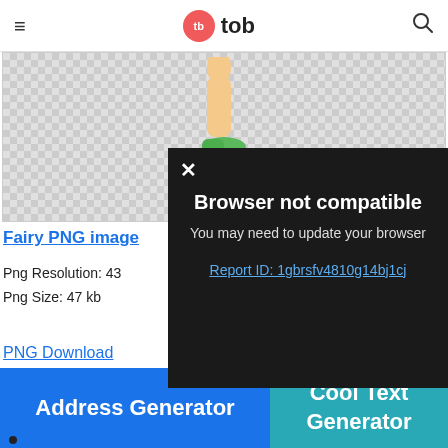≡  tb tob  🔍
[Figure (illustration): Checkerboard transparent background showing a cartoon fairy leg with green shoe kicking a white ball]
Fairy PNG image
Png Resolution: 43
Png Size: 47 kb
Powered by GliaStudio
PNG Download
[Figure (screenshot): Browser not compatible modal dialog on dark background with close X button. Text: 'Browser not compatible', 'You may need to update your browser', link 'Report ID: 1gbrsfv4810g14bj1cj']
Address Generator
Cool Text Generator